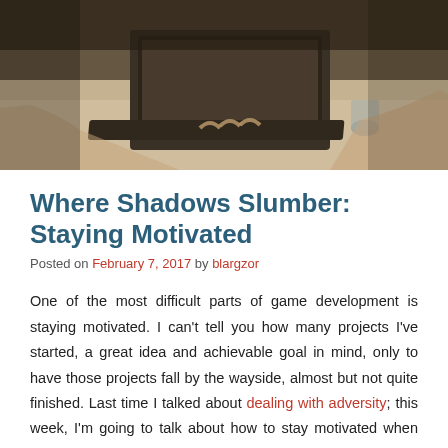[Figure (photo): A person working on a laptop, viewed from above, with a dark/sepia toned background. A glass is visible near the laptop.]
Where Shadows Slumber: Staying Motivated
Posted on February 7, 2017 by blargzor
One of the most difficult parts of game development is staying motivated. I can't tell you how many projects I've started, a great idea and achievable goal in mind, only to have those projects fall by the wayside, almost but not quite finished. Last time I talked about dealing with adversity; this week, I'm going to talk about how to stay motivated when working on a game development project.
As game developers, we love games, and we love developing games. When you first come up with a great concept for a game, you're excited about it. You have so many great ideas, and you just can't wait to implement them. You have an image of what your game will